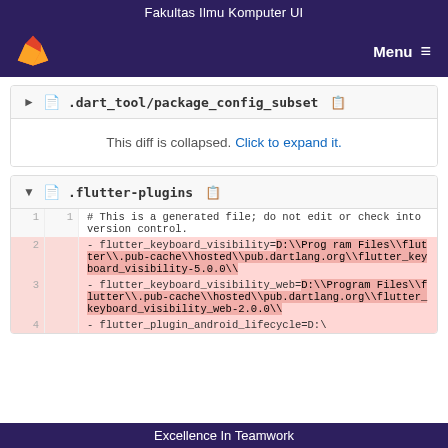Fakultas Ilmu Komputer UI
[Figure (screenshot): GitLab navigation bar with fox logo and Menu button on dark purple background]
.dart_tool/package_config_subset — This diff is collapsed. Click to expand it.
.flutter-plugins — diff content showing deleted lines with flutter_keyboard_visibility and flutter_keyboard_visibility_web paths
Excellence In Teamwork